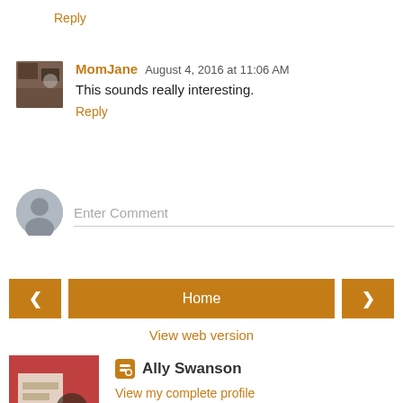Reply
MomJane  August 4, 2016 at 11:06 AM
This sounds really interesting.
Reply
Enter Comment
Home
View web version
Ally Swanson
View my complete profile